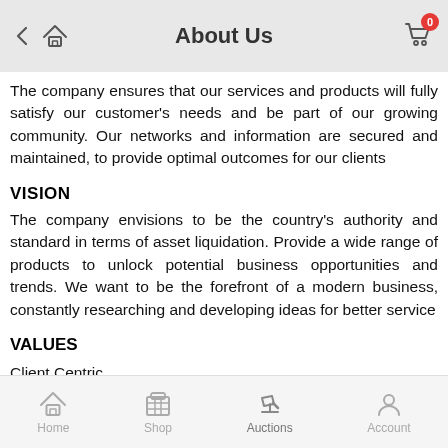About Us
The company ensures that our services and products will fully satisfy our customer's needs and be part of our growing community. Our networks and information are secured and maintained, to provide optimal outcomes for our clients
VISION
The company envisions to be the country's authority and standard in terms of asset liquidation. Provide a wide range of products to unlock potential business opportunities and trends. We want to be the forefront of a modern business, constantly researching and developing ideas for better service
VALUES
Client Centric
Professional Excellence
Home  Shop  Auctions  Account